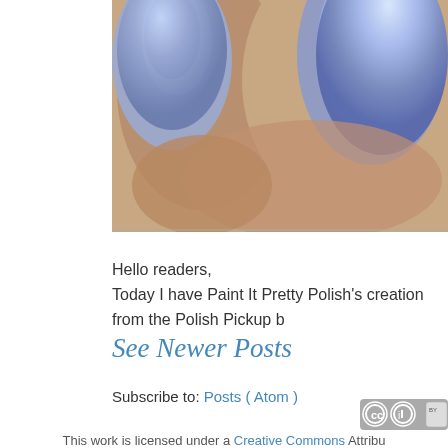[Figure (photo): Close-up photograph of fingers with blue/purple shimmer nail polish]
Hello readers,
Today I have Paint It Pretty Polish's creation from the Polish Pickup b
See Newer Posts
Subscribe to: Posts ( Atom )
[Figure (logo): Creative Commons Attribution license badge]
This work is licensed under a Creative Commons Attribu